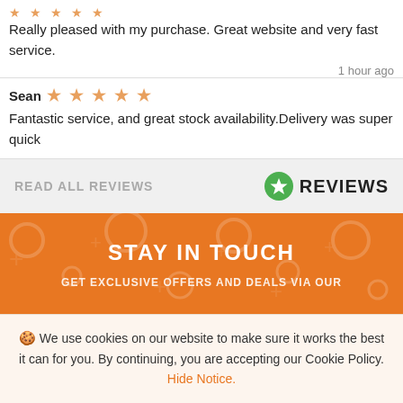Really pleased with my purchase. Great website and very fast service.
1 hour ago
Sean ★★★★★ Fantastic service, and great stock availability.Delivery was super quick
READ ALL REVIEWS   ⭐ REVIEWS
STAY IN TOUCH
GET EXCLUSIVE OFFERS AND DEALS VIA OUR
🍪 We use cookies on our website to make sure it works the best it can for you. By continuing, you are accepting our Cookie Policy. Hide Notice.